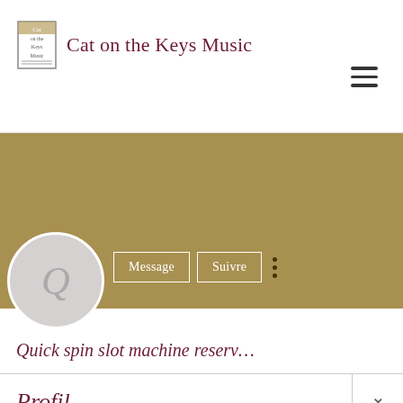Cat on the Keys Music
[Figure (screenshot): Profile page screenshot showing gold banner with message/follow buttons, avatar with Q letter, profile name text, and Profil section]
Quick spin slot machine reserv…
Profil
A rejoint le 38 avr 2022